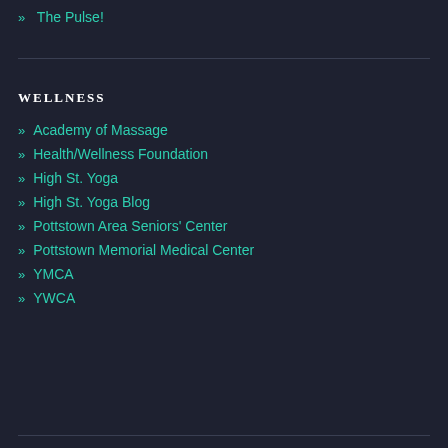» The Pulse!
WELLNESS
» Academy of Massage
» Health/Wellness Foundation
» High St. Yoga
» High St. Yoga Blog
» Pottstown Area Seniors' Center
» Pottstown Memorial Medical Center
» YMCA
» YWCA